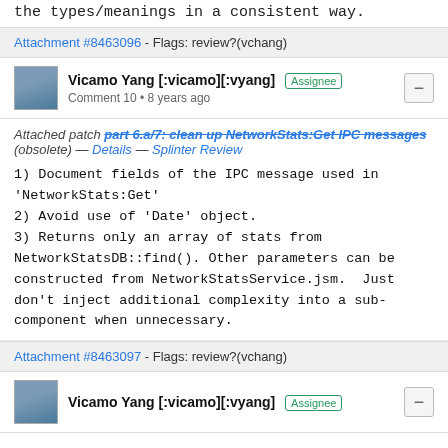the types/meanings in a consistent way.
Attachment #8463096 - Flags: review?(vchang)
Vicamo Yang [:vicamo][:vyang] Assignee
Comment 10 • 8 years ago
Attached patch part 6.a/7: clean up NetworkStats:Get IPC messages (obsolete) — Details — Splinter Review
1) Document fields of the IPC message used in 'NetworkStats:Get'
2) Avoid use of 'Date' object.
3) Returns only an array of stats from NetworkStatsDB::find(). Other parameters can be constructed from NetworkStatsService.jsm.  Just don't inject additional complexity into a sub-component when unnecessary.
Attachment #8463097 - Flags: review?(vchang)
Vicamo Yang [:vicamo][:vyang] Assignee